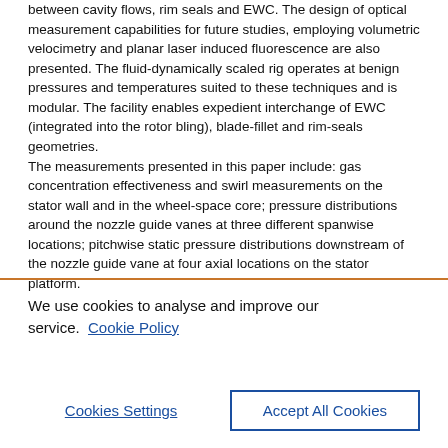between cavity flows, rim seals and EWC. The design of optical measurement capabilities for future studies, employing volumetric velocimetry and planar laser induced fluorescence are also presented. The fluid-dynamically scaled rig operates at benign pressures and temperatures suited to these techniques and is modular. The facility enables expedient interchange of EWC (integrated into the rotor bling), blade-fillet and rim-seals geometries. The measurements presented in this paper include: gas concentration effectiveness and swirl measurements on the stator wall and in the wheel-space core; pressure distributions around the nozzle guide vanes at three different spanwise locations; pitchwise static pressure distributions downstream of the nozzle guide vane at four axial locations on the stator platform.
We use cookies to analyse and improve our service. Cookie Policy
Cookies Settings
Accept All Cookies